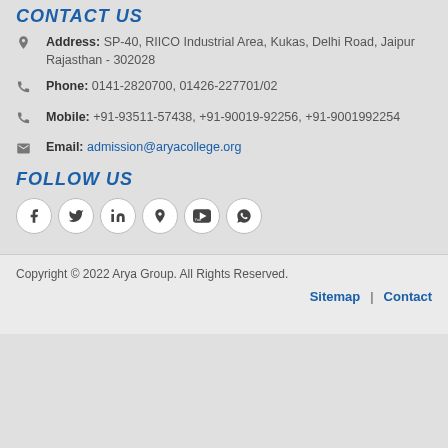CONTACT US
Address: SP-40, RIICO Industrial Area, Kukas, Delhi Road, Jaipur Rajasthan - 302028
Phone: 0141-2820700, 01426-227701/02
Mobile: +91-93511-57438, +91-90019-92256, +91-9001992254
Email: admission@aryacollege.org
FOLLOW US
[Figure (other): Social media icons: Facebook, Twitter, LinkedIn, Location pin, YouTube, WhatsApp]
Copyright © 2022 Arya Group. All Rights Reserved.
Sitemap | Contact